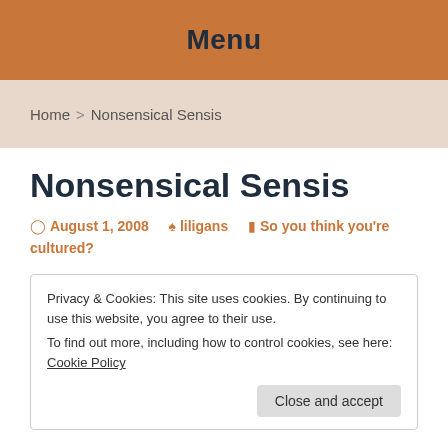Menu
Home > Nonsensical Sensis
Nonsensical Sensis
August 1, 2008   liligans   So you think you're cultured?
Privacy & Cookies: This site uses cookies. By continuing to use this website, you agree to their use.
To find out more, including how to control cookies, see here: Cookie Policy
Close and accept
being unpacked.